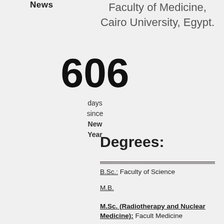News
606
days since New Year
Faculty of Medicine, Cairo University, Egypt.
Degrees:
B.Sc.: Faculty of Science
M.B.
M.Sc. (Radiotherapy and Nuclear Medicine): Facult Medicine
M.D. (Radiotherapy and Nuclear Medicine): Facult Medicine
Medical